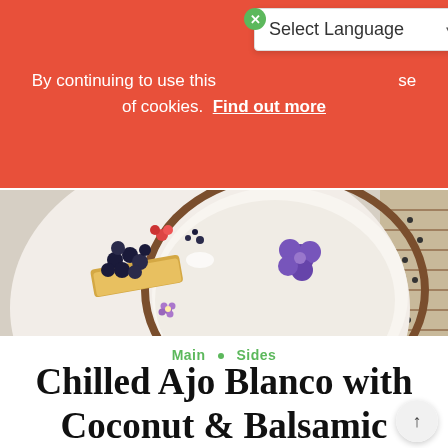By continuing to use this [site you accept the] use of cookies. Find out more
[Figure (screenshot): Language selector dropdown overlay showing 'Select Language' with a dropdown arrow, on a white background]
[Figure (photo): Top-down view of a white ceramic bowl with a creamy white soup garnished with dark berries, a crisp cracker, and purple edible flowers, on a bamboo mat]
Main • Sides
Chilled Ajo Blanco with Coconut & Balsamic...